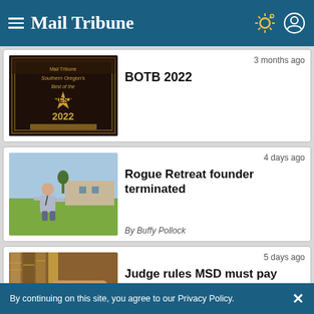Mail Tribune
[Figure (photo): BOTB 2022 badge with star, dark decorative border]
3 months ago
BOTB 2022
[Figure (photo): Man standing in a green field in front of a building]
4 days ago
Rogue Retreat founder terminated
By Buffy Pollock
[Figure (photo): Law books and wooden gavel]
5 days ago
Judge rules MSD must pay family
By continuing on this site, you agree to our Privacy Policy.